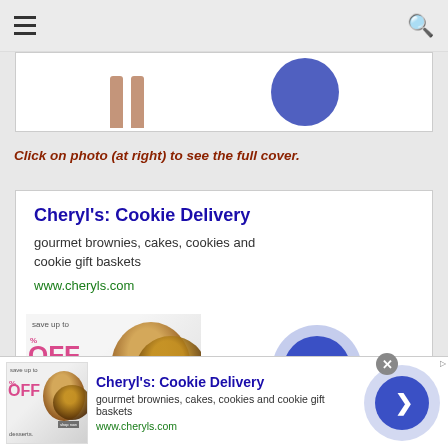Navigation bar with hamburger menu and search icon
[Figure (screenshot): Partial product image strip showing two leg-shaped objects and a blue circle on white background]
Click on photo (at right) to see the full cover.
[Figure (screenshot): Advertisement card for Cheryl's: Cookie Delivery showing title, description, URL, product image with discount text, and blue arrow circle]
Cheryl's: Cookie Delivery
gourmet brownies, cakes, cookies and cookie gift baskets
www.cheryls.com
[Figure (screenshot): Bottom banner advertisement for Cheryl's: Cookie Delivery with product image, text, and blue arrow button]
Cheryl's: Cookie Delivery
gourmet brownies, cakes, cookies and cookie gift baskets
www.cheryls.com